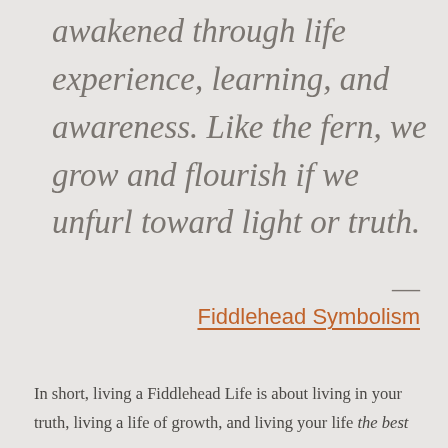awakened through life experience, learning, and awareness. Like the fern, we grow and flourish if we unfurl toward light or truth.
—
Fiddlehead Symbolism
In short, living a Fiddlehead Life is about living in your truth, living a life of growth, and living your life the best